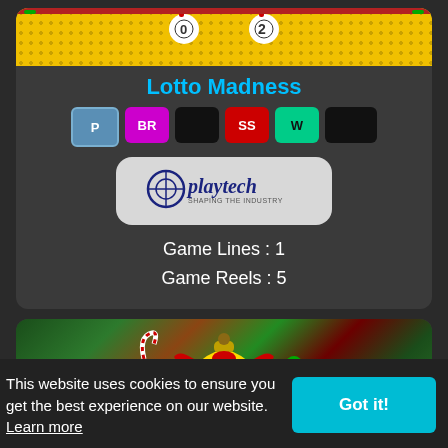[Figure (screenshot): Lotto Madness game card with yellow dotted background and cartoon eyes at top]
Lotto Madness
[Figure (other): Badge row: P, BR, black, SS, W, black]
[Figure (logo): Playtech provider logo on light gray rounded background]
Game Lines : 1
Game Reels : 5
[Figure (screenshot): Christmas Jackpot Bells game image with bells, ornaments and candy canes]
Christmas Jackpot Bells
This website uses cookies to ensure you get the best experience on our website.  Learn more
Got it!